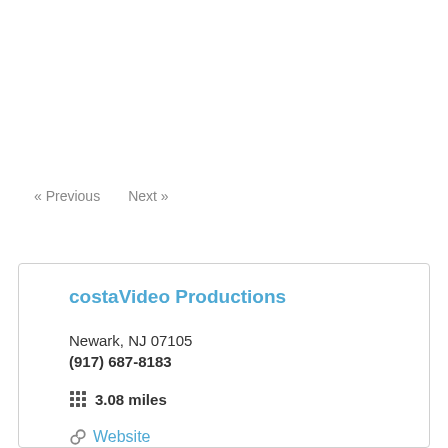« Previous   Next »
costaVideo Productions
Newark, NJ 07105
(917) 687-8183
3.08 miles
Website